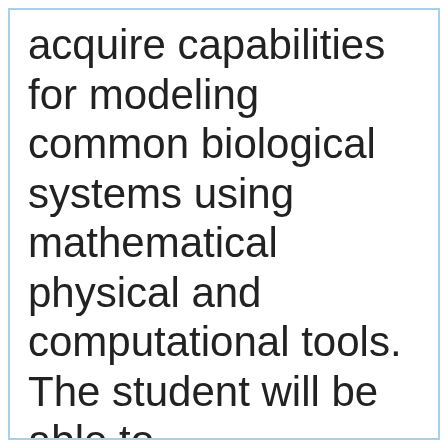acquire capabilities for modeling common biological systems using mathematical physical and computational tools. The student will be able to